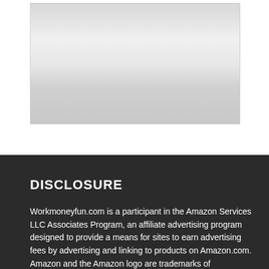[Figure (photo): A product image with a light gray gradient background, appears to show a bottle or container partially visible, with white and light gray tones.]
DISCLOSURE
Workmoneyfun.com is a participant in the Amazon Services LLC Associates Program, an affiliate advertising program designed to provide a means for sites to earn advertising fees by advertising and linking to products on Amazon.com. Amazon and the Amazon logo are trademarks of Amazon.com, Inc, or its